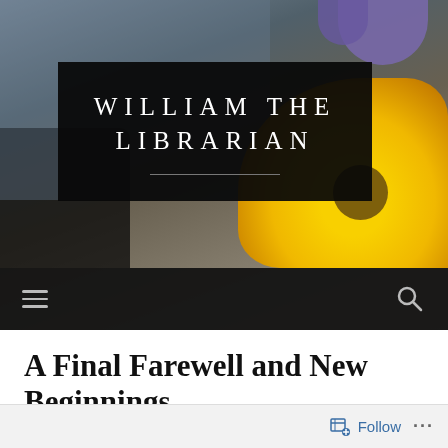[Figure (photo): Hero image of a library/person with sunflower and purple flowers, blurred background, with black overlay box containing blog title 'WILLIAM THE LIBRARIAN' and dark navigation bar with hamburger menu and search icon]
WILLIAM THE LIBRARIAN
A Final Farewell and New Beginnings
[Figure (other): Follow bar at bottom with Follow button and ellipsis menu]